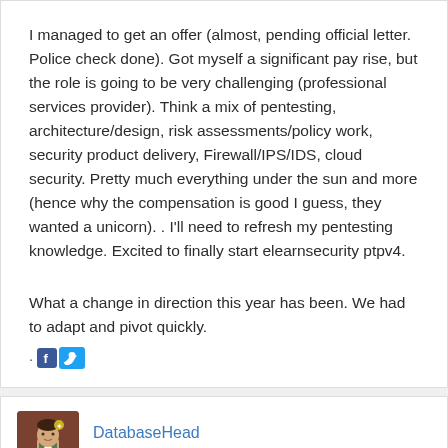I managed to get an offer (almost, pending official letter. Police check done). Got myself a significant pay rise, but the role is going to be very challenging (professional services provider). Think a mix of pentesting, architecture/design, risk assessments/policy work, security product delivery, Firewall/IPS/IDS, cloud security. Pretty much everything under the sun and more (hence why the compensation is good I guess, they wanted a unicorn). . I'll need to refresh my pentesting knowledge. Excited to finally start elearnsecurity ptpv4.
What a change in direction this year has been. We had to adapt and pivot quickly.
[Figure (other): Social sharing icons: Facebook and Twitter]
[Figure (illustration): User avatar showing a cartoon character]
DatabaseHead
May 2020